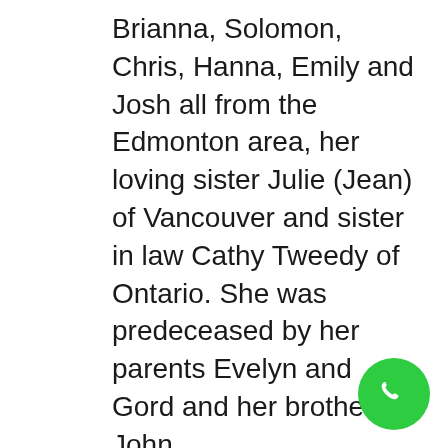Brianna, Solomon, Chris, Hanna, Emily and Josh all from the Edmonton area, her loving sister Julie (Jean) of Vancouver and sister in law Cathy Tweedy of Ontario. She was predeceased by her parents Evelyn and Gord and her brother John.

Margaret was a loving, devoted wife and mother and was always there for all of us no matter what! Margaret was a compassionate nurse for 35 years who dearly put her patients first and genuinely loved to make a difference for others. Margaret nursed in Trail, Castlegar, White Rock and Kamloops and retired in 2000. She loved to...
[Figure (other): Green circular phone/call button icon in bottom-right corner]